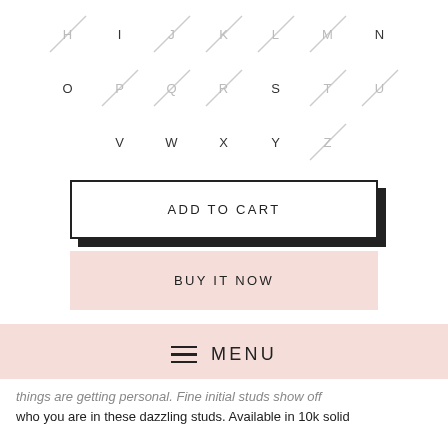[Figure (other): Letter selector grid showing alphabet letters, some with diagonal strikethrough lines indicating unavailable options. Row 1: H(strike), I, J(strike), K(strike), L(strike), M(strike), N. Row 2: O, P(strike), Q(strike), R(strike), S, T(strike), U(strike). Row 3: V, W, X, Y, Z(strike).]
ADD TO CART
BUY IT NOW
MENU
things are getting personal. Fine initial studs show off who you are in these dazzling studs. Available in 10k solid